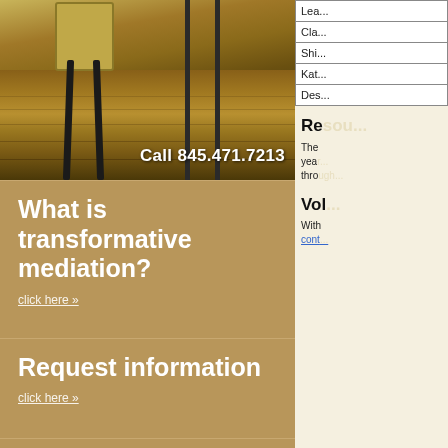[Figure (photo): Photo of chair legs and wooden floor in an office/mediation setting, with 'Call 845.471.7213' text overlay]
What is transformative mediation?
click here »
Request information
click here »
Newsletter subscriptions
download current issue »
click here »
| Lea... |
| Cla... |
| Shi... |
| Kat... |
| Des... |
Re...
The ... year... thro...
Vol...
With ... cont...